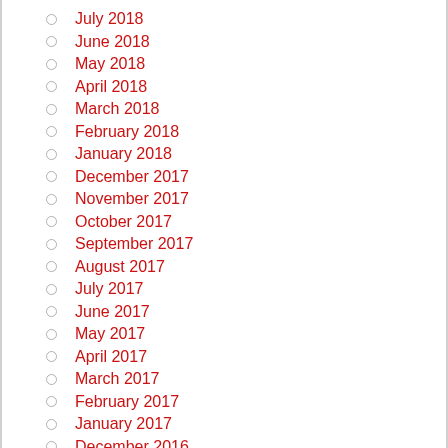July 2018
June 2018
May 2018
April 2018
March 2018
February 2018
January 2018
December 2017
November 2017
October 2017
September 2017
August 2017
July 2017
June 2017
May 2017
April 2017
March 2017
February 2017
January 2017
December 2016